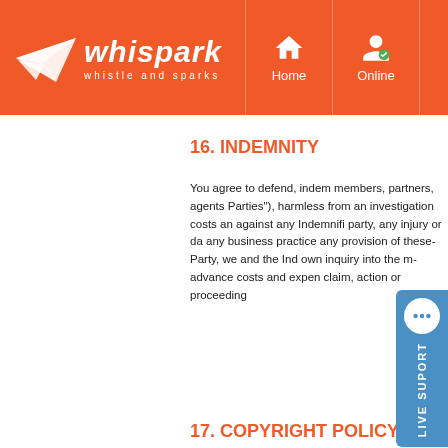Whispark - whistle and sparks | Home | Online | S...
16. INDEMNITY
You agree to defend, indem... members, partners, agents... Parties"), harmless from an... investigation costs an... against any Indemnifi... party, any injury or da... any business practice... any provision of these... Party, we and the Ind... own inquiry into the m... advance costs and expen... claim, action or proceeding...
17. COPYRIGHT POLICY